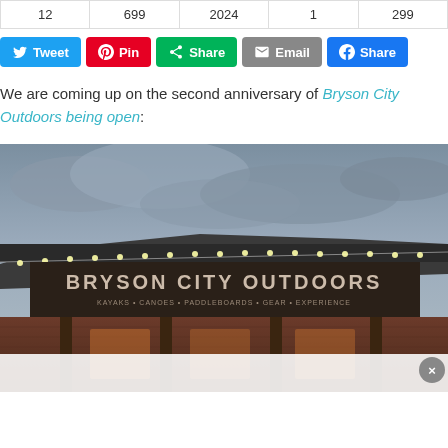| 12 | 699 | 2024 | 1 | 299 |
Tweet | Pin | Share | Email | Share
We are coming up on the second anniversary of Bryson City Outdoors being open:
[Figure (photo): Exterior photo of Bryson City Outdoors storefront at dusk, with string lights along the roofline, a large sign reading BRYSON CITY OUTDOORS, brick building, cloudy sky.]